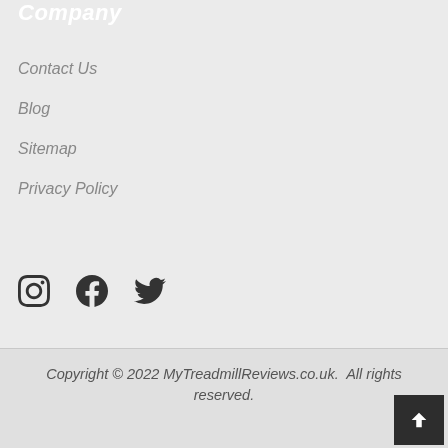Company
Contact Us
Blog
Sitemap
Privacy Policy
[Figure (other): Social media icons: Instagram, Facebook, Twitter]
Copyright © 2022 MyTreadmillReviews.co.uk.  All rights reserved.